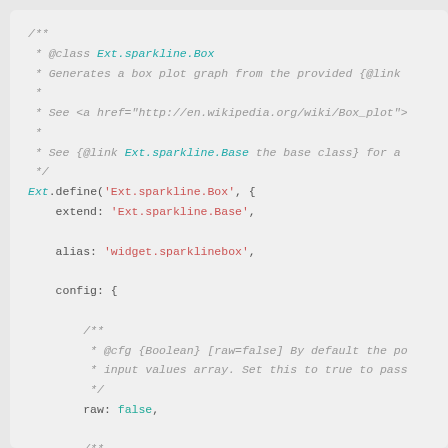[Figure (screenshot): Source code screenshot showing JavaScript class definition for Ext.sparkline.Box with JSDoc comments and Ext.define block including extend, alias, config properties with raw and boxLineColor configs.]